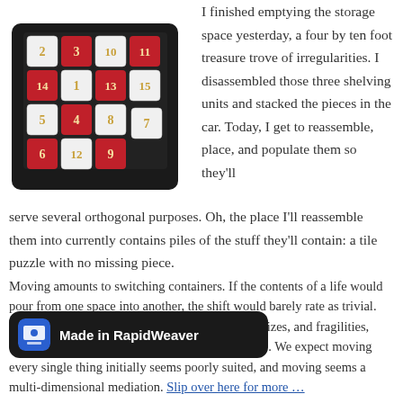[Figure (photo): A sliding tile puzzle board with red and white numbered tiles (numbers 1-15) arranged in a 4x4 grid with one missing space, housed in a black frame, viewed at a slight angle.]
I finished emptying the storage space yesterday, a four by ten foot treasure trove of irregularities. I disassembled those three shelving units and stacked the pieces in the car. Today, I get to reassemble, place, and populate them so they'll serve several orthogonal purposes. Oh, the place I'll reassemble them into currently contains piles of the stuff they'll contain: a tile puzzle with no missing piece.
Moving amounts to switching containers. If the contents of a life would pour from one space into another, the shift would barely rate as trivial. But life comes in an alarming variety of shapes, sizes, and fragilities, with heavy emphasis on irregular, odd, and brittle. We expect moving every single thing initially seems poorly suited, and moving seems a multi-dimensional mediation. Slip over here for more …
[Figure (screenshot): A dark toast notification bar at the bottom of the screen reading 'Made in RapidWeaver' with a RapidWeaver app icon on the left.]